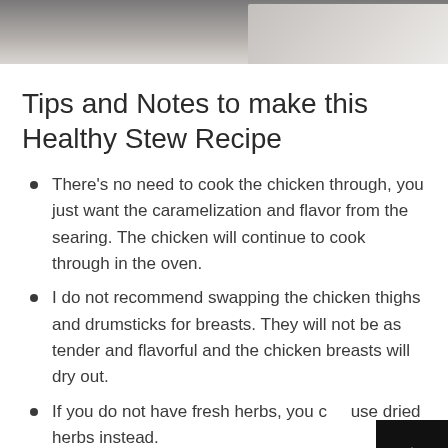[Figure (photo): Top portion of a photo showing a cooking pot or Dutch oven from above, dark and light tones visible at the top of the page]
Tips and Notes to make this Healthy Stew Recipe
There's no need to cook the chicken through, you just want the caramelization and flavor from the searing. The chicken will continue to cook through in the oven.
I do not recommend swapping the chicken thighs and drumsticks for breasts. They will not be as tender and flavorful and the chicken breasts will dry out.
If you do not have fresh herbs, you can use dried herbs instead.
I recommend using a Dutch oven as it distributes the heat well.